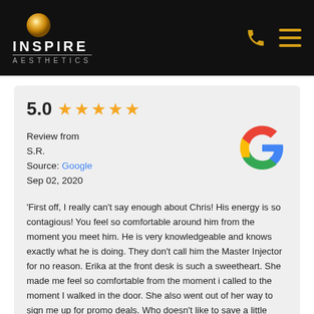[Figure (logo): Inspire Aesthetics logo with gold pearl orb above the text INSPIRE AESTHETICS on black background, with phone and menu icons in gold on the right]
5.0 ★★★★★
Review from
S.R.
Source: Google
Sep 02, 2020
[Figure (logo): Google G logo in red, yellow, green, and blue]
'First off, I really can't say enough about Chris! His energy is so contagious! You feel so comfortable around him from the moment you meet him. He is very knowledgeable and knows exactly what he is doing. They don't call him the Master Injector for no reason. Erika at the front desk is such a sweetheart. She made me feel so comfortable from the moment i called to the moment I walked in the door. She also went out of her way to sign me up for promo deals. Who doesn't like to save a little money and